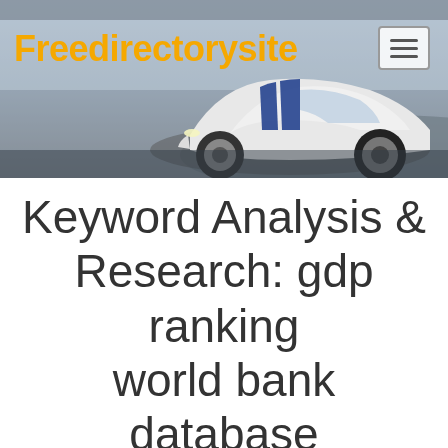[Figure (photo): Website header banner showing a white sports car with blue racing stripes on a blurred track background, with the site logo 'Freedirectorysite' in orange bold text on the left and a hamburger menu icon on the right.]
Keyword Analysis & Research: gdp ranking world bank database